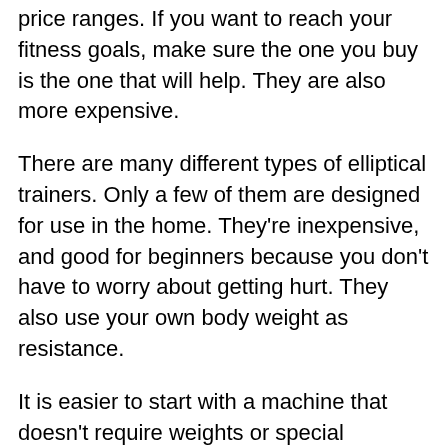price ranges. If you want to reach your fitness goals, make sure the one you buy is the one that will help. They are also more expensive.
There are many different types of elliptical trainers. Only a few of them are designed for use in the home. They're inexpensive, and good for beginners because you don't have to worry about getting hurt. They also use your own body weight as resistance.
It is easier to start with a machine that doesn't require weights or special equipment. There are two main types of elliptical trainers, the recumbent elliptical trainers and the standard elliptical trainers.
They are also more expensive. Recumbent